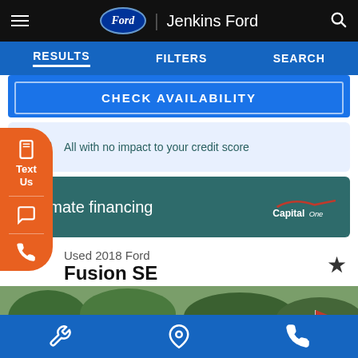Jenkins Ford
RESULTS   FILTERS   SEARCH
CHECK AVAILABILITY
All with no impact to your credit score
Estimate financing
Text Us
Used 2018 Ford Fusion SE
[Figure (photo): Car dealership lot with multiple vehicles parked, trees visible in background]
Service | Location | Phone